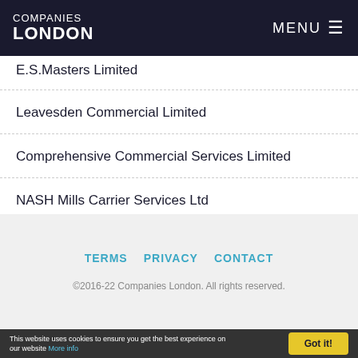COMPANIES LONDON | MENU
E.S.Masters Limited
Leavesden Commercial Limited
Comprehensive Commercial Services Limited
NASH Mills Carrier Services Ltd
TERMS   PRIVACY   CONTACT
©2016-22 Companies London. All rights reserved.
This website uses cookies to ensure you get the best experience on our website More info   Got it!